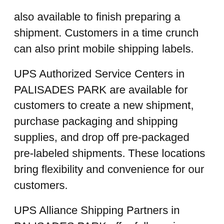also available to finish preparing a shipment. Customers in a time crunch can also print mobile shipping labels.
UPS Authorized Service Centers in PALISADES PARK are available for customers to create a new shipment, purchase packaging and shipping supplies, and drop off pre-packaged pre-labeled shipments. These locations bring flexibility and convenience for our customers.
UPS Alliance Shipping Partners in PALISADES PARK offer full-service shipping services. Customers are able to create a new shipment, pick up and drop off pre-packaged pre-labeled shipments. Staffed personnel is also available to provide shipping advice and to assist with picking out the proper packaging and shipping supplies, which are available for purchase.
UPS Access Point® locations in PALISADES PARK, NJ are very convenient for customers looking for a quick and simple stop in any neighborhood. Drop off pre-packaged.